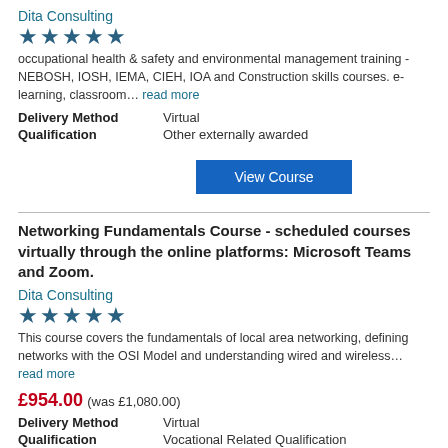Dita Consulting
[Figure (other): 5-star rating shown as 5 filled stars]
occupational health & safety and environmental management training - NEBOSH, IOSH, IEMA, CIEH, IOA and Construction skills courses. e-learning, classroom… read more
Delivery Method   Virtual
Qualification   Other externally awarded
View Course
Networking Fundamentals Course - scheduled courses virtually through the online platforms: Microsoft Teams and Zoom.
Dita Consulting
[Figure (other): 5-star rating shown as 5 filled stars]
This course covers the fundamentals of local area networking, defining networks with the OSI Model and understanding wired and wireless… read more
£954.00 (was £1,080.00)
Delivery Method   Virtual
Qualification   Vocational Related Qualification